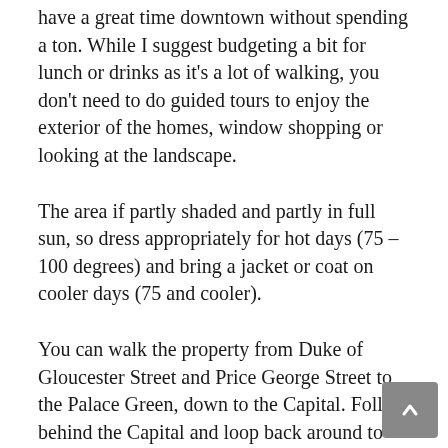have a great time downtown without spending a ton. While I suggest budgeting a bit for lunch or drinks as it's a lot of walking, you don't need to do guided tours to enjoy the exterior of the homes, window shopping or looking at the landscape.
The area if partly shaded and partly in full sun, so dress appropriately for hot days (75 – 100 degrees) and bring a jacket or coat on cooler days (75 and cooler).
You can walk the property from Duke of Gloucester Street and Price George Street to the Palace Green, down to the Capital. Follow behind the Capital and loop back around to Nicholson street and head back towards the start.